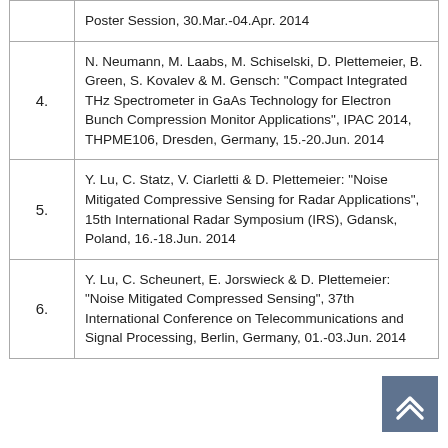| # | Reference |
| --- | --- |
|  | Poster Session, 30.Mar.-04.Apr. 2014 |
| 4. | N. Neumann, M. Laabs, M. Schiselski, D. Plettemeier, B. Green, S. Kovalev & M. Gensch: "Compact Integrated THz Spectrometer in GaAs Technology for Electron Bunch Compression Monitor Applications", IPAC 2014, THPME106, Dresden, Germany, 15.-20.Jun. 2014 |
| 5. | Y. Lu, C. Statz, V. Ciarletti & D. Plettemeier: "Noise Mitigated Compressive Sensing for Radar Applications", 15th International Radar Symposium (IRS), Gdansk, Poland, 16.-18.Jun. 2014 |
| 6. | Y. Lu, C. Scheunert, E. Jorswieck & D. Plettemeier: "Noise Mitigated Compressed Sensing", 37th International Conference on Telecommunications and Signal Processing, Berlin, Germany, 01.-03.Jun. 2014 |